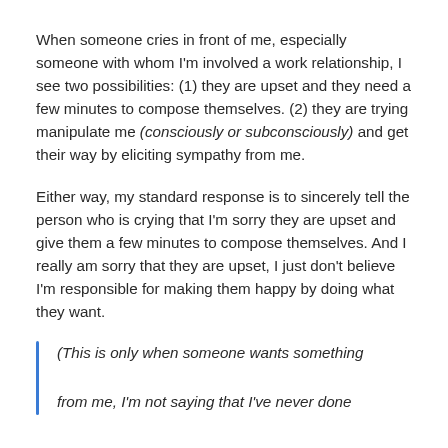When someone cries in front of me, especially someone with whom I'm involved a work relationship, I see two possibilities: (1) they are upset and they need a few minutes to compose themselves. (2) they are trying manipulate me (consciously or subconsciously) and get their way by eliciting sympathy from me.
Either way, my standard response is to sincerely tell the person who is crying that I'm sorry they are upset and give them a few minutes to compose themselves. And I really am sorry that they are upset, I just don't believe I'm responsible for making them happy by doing what they want.
(This is only when someone wants something from me, I'm not saying that I've never done